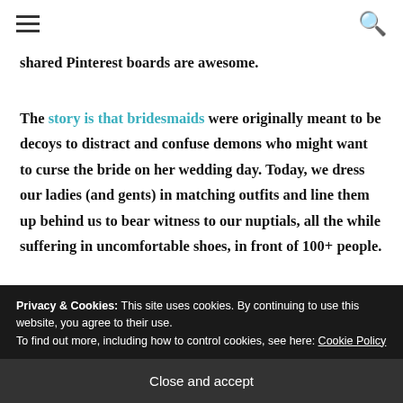☰ 🔍
shared Pinterest boards are awesome.
The story is that bridesmaids were originally meant to be decoys to distract and confuse demons who might want to curse the bride on her wedding day. Today, we dress our ladies (and gents) in matching outfits and line them up behind us to bear witness to our nuptials, all the while suffering in uncomfortable shoes, in front of 100+ people.
Privacy & Cookies: This site uses cookies. By continuing to use this website, you agree to their use. To find out more, including how to control cookies, see here: Cookie Policy
Close and accept